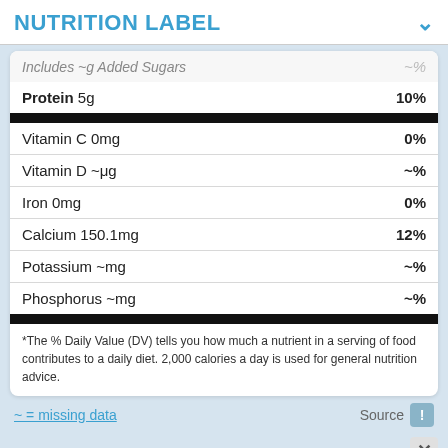NUTRITION LABEL
| Nutrient | %DV |
| --- | --- |
| Includes ~g Added Sugars | ~% |
| Protein 5g | 10% |
| Vitamin C 0mg | 0% |
| Vitamin D ~μg | ~% |
| Iron 0mg | 0% |
| Calcium 150.1mg | 12% |
| Potassium ~mg | ~% |
| Phosphorus ~mg | ~% |
*The % Daily Value (DV) tells you how much a nutrient in a serving of food contributes to a daily diet. 2,000 calories a day is used for general nutrition advice.
~ = missing data
Source
Ingredients: Ingredients: Cultured Pasteurized Milk And Skim Milk, Whey, Cream, Sodium Citrate (Emulsifier), Com